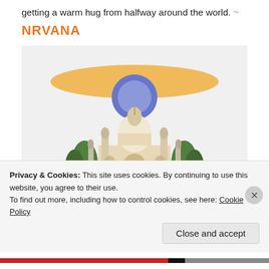getting a warm hug from halfway around the world. ~
NRVANA
[Figure (illustration): Illustration of the Taj Mahal with Indian flag colors — orange stripe at top, blue circle (Ashoka Chakra reference), green trees on sides, blue reflecting pool in front, on a light gray background.]
Destination:   India
Namaste   your passport has been stamped!
Privacy & Cookies: This site uses cookies. By continuing to use this website, you agree to their use.
To find out more, including how to control cookies, see here: Cookie Policy
Close and accept